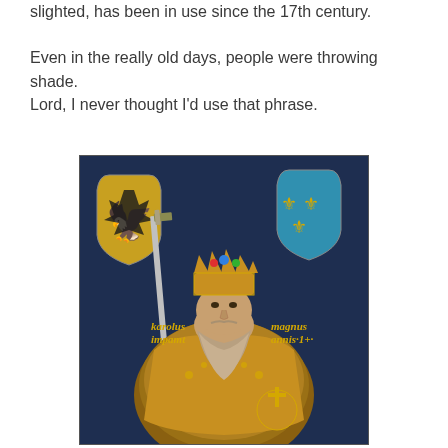slighted, has been in use since the 17th century.

Even in the really old days, people were throwing shade. Lord, I never thought I'd use that phrase.
[Figure (illustration): A medieval-style portrait painting of Charlemagne (Carolus Magnus) wearing an ornate jeweled crown and golden robes, holding a sword and orb with cross. Text in Gothic script reads 'karolus impamt' on the left and 'magnus annis 1+' on the right. Heraldic shields appear in the upper corners — a black eagle on gold shield (left) and gold fleur-de-lis on blue shield (right). Dark blue background.]